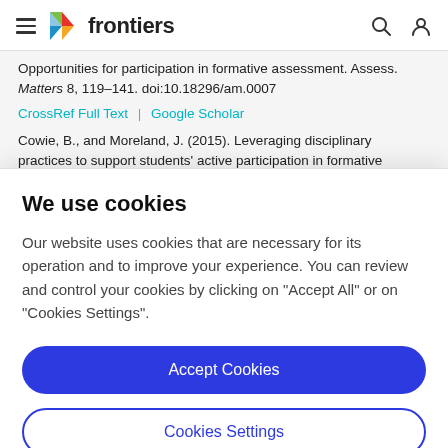frontiers
Opportunities for participation in formative assessment. Assess. Matters 8, 119–141. doi:10.18296/am.0007
CrossRef Full Text | Google Scholar
Cowie, B., and Moreland, J. (2015). Leveraging disciplinary practices to support students' active participation in formative
We use cookies
Our website uses cookies that are necessary for its operation and to improve your experience. You can review and control your cookies by clicking on "Accept All" or on "Cookies Settings".
Accept Cookies
Cookies Settings